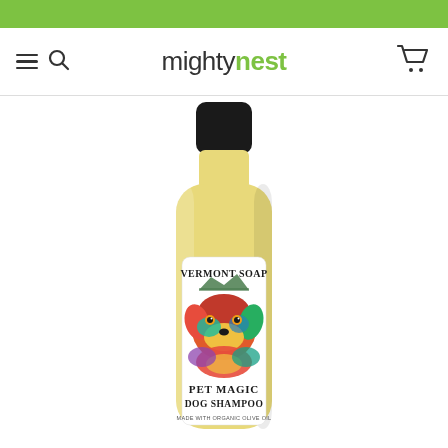mightynest
[Figure (photo): Vermont Soap Pet Magic Dog Shampoo bottle with colorful pop-art dog illustration on label, made with organic olive oil, shown on mightynest product page]